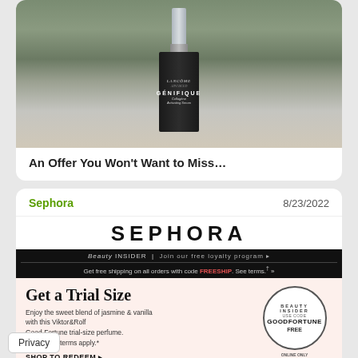[Figure (photo): Lancôme Advanced Génifique serum bottle against an outdoor nature background with rocks and water]
An Offer You Won't Want to Miss…
Sephora    8/23/2022
SEPHORA
Beauty INSIDER  |  Join our free loyalty program ▶
Get free shipping on all orders with code FREESHIP. See terms.† »
Get a Trial Size
Enjoy the sweet blend of jasmine & vanilla with this Viktor&Rolf Good Fortune trial-size perfume. Exclusions/terms apply.*
SHOP TO REDEEM ▶
BEAUTY INSIDER USE CODE GOODFORTUNE FREE ONLINE ONLY WITH $25 PURCHASE*
Privacy